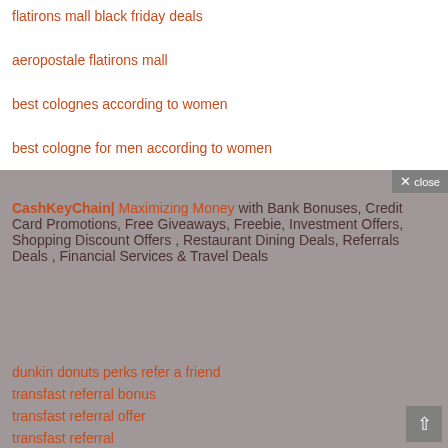flatirons mall black friday deals
aeropostale flatirons mall
best colognes according to women
best cologne for men according to women
CashKeyChain| Maximizing Money with Bank Bonuses, Credit Card Promotions, Free Giveaways, Freebie, Investment Offers, Shopping Discount Offers , Restaurant Dining Deals, Referrals Deals , Financial Services & Travel Deals
dunkin donuts perks refer a friend
transfast referral bonus
transfast referral offer
transfast referral
transfast friend referral